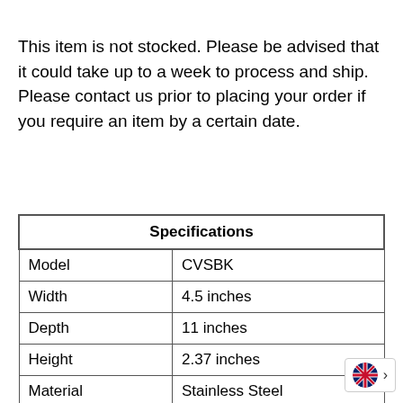This item is not stocked. Please be advised that it could take up to a week to process and ship. Please contact us prior to placing your order if you require an item by a certain date.
| Specifications |  |
| --- | --- |
| Model | CVSBK |
| Width | 4.5 inches |
| Depth | 11 inches |
| Height | 2.37 inches |
| Material | Stainless Steel |